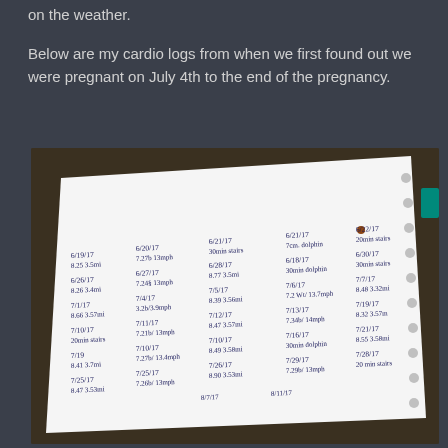on the weather.
Below are my cardio logs from when we first found out we were pregnant on July 4th to the end of the pregnancy.
[Figure (photo): A photograph of a spiral-bound notebook page with handwritten cardio workout logs. The entries include dates (6/19/17 through 7/28/17 and beyond) with workout data including distances in miles, speeds in mph, and durations. Multiple columns of handwritten entries are visible on the tilted notebook page against a dark background.]